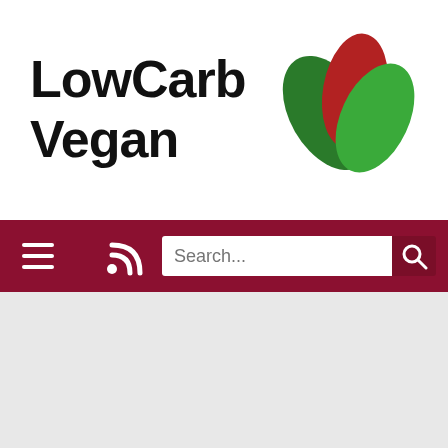[Figure (logo): LowCarb Vegan logo with stylized leaf graphic in green and red colors, bold black text reading 'LowCarb Vegan']
[Figure (screenshot): Navigation bar with hamburger menu icon, RSS feed icon, search text box with placeholder 'Search...', and search button with magnifying glass icon, on dark red/maroon background]